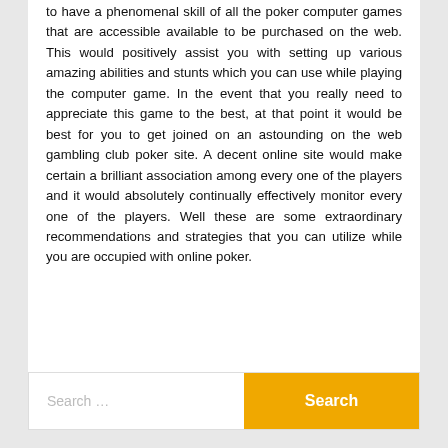to have a phenomenal skill of all the poker computer games that are accessible available to be purchased on the web. This would positively assist you with setting up various amazing abilities and stunts which you can use while playing the computer game. In the event that you really need to appreciate this game to the best, at that point it would be best for you to get joined on an astounding on the web gambling club poker site. A decent online site would make certain a brilliant association among every one of the players and it would absolutely continually effectively monitor every one of the players. Well these are some extraordinary recommendations and strategies that you can utilize while you are occupied with online poker.